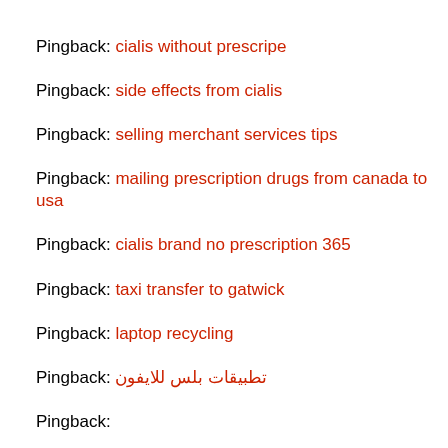Pingback: cialis without prescripe
Pingback: side effects from cialis
Pingback: selling merchant services tips
Pingback: mailing prescription drugs from canada to usa
Pingback: cialis brand no prescription 365
Pingback: taxi transfer to gatwick
Pingback: laptop recycling
Pingback: تطبيقات بلس للايفون
Pingback: ...